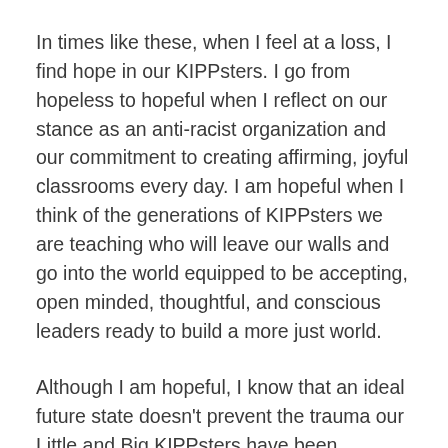In times like these, when I feel at a loss, I find hope in our KIPPsters. I go from hopeless to hopeful when I reflect on our stance as an anti-racist organization and our commitment to creating affirming, joyful classrooms every day. I am hopeful when I think of the generations of KIPPsters we are teaching who will leave our walls and go into the world equipped to be accepting, open minded, thoughtful, and conscious leaders ready to build a more just world.
Although I am hopeful, I know that an ideal future state doesn't prevent the trauma our Little and Big KIPPsters have been experiencing and are feeling today.
We will continue creating safe and brave spaces for